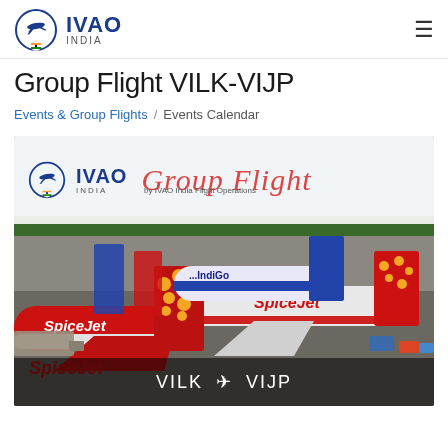IVAO INDIA
Group Flight VILK-VIJP
Events & Group Flights / Events Calendar
[Figure (photo): Airport tarmac photo showing multiple SpiceJet and IndiGo aircraft parked at gates. Overlaid with IVAO India logo, 'Group Flight' text in red italic, 'by IVAO India Flight Operations' subtitle, and 'VILK ➤ VIJP' route text at the bottom.]